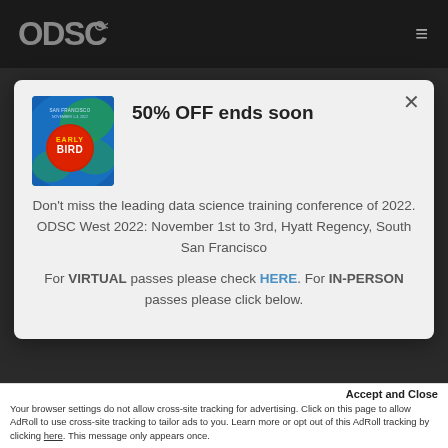[Figure (logo): ODSC logo in top navigation bar, white/gray on dark background]
50% OFF ends soon
[Figure (illustration): Early Bird conference promotional image with blue/green swirl background and red circle with 'EARLY BIRD' text]
Don't miss the leading data science training conference of 2022. ODSC West 2022: November 1st to 3rd, Hyatt Regency, South San Francisco
For VIRTUAL passes please check HERE. For IN-PERSON passes please click below.
Partner with ODSC
Accept and Close
Your browser settings do not allow cross-site tracking for advertising. Click on this page to allow AdRoll to use cross-site tracking to tailor ads to you. Learn more or opt out of this AdRoll tracking by clicking here. This message only appears once.